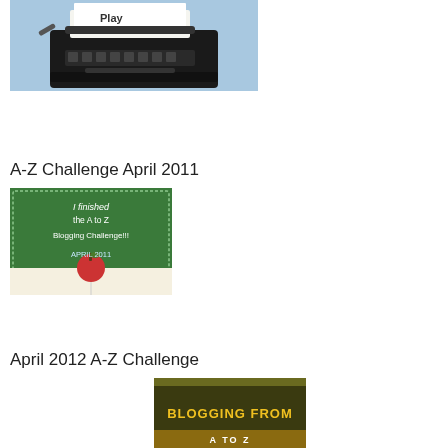[Figure (photo): Typewriter with 'Play' text on blue background — writing/blogging themed image]
A-Z Challenge April 2011
[Figure (photo): Green chalkboard badge: 'I finished the A to Z Blogging Challenge!!! APRIL 2011' with apple on open book]
April 2012 A-Z Challenge
[Figure (photo): Blogging from A to Z challenge badge/banner — partial view showing 'BLOGGING FROM' text]